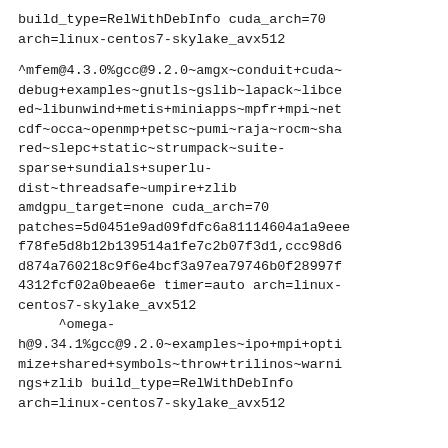build_type=RelWithDebInfo cuda_arch=70 arch=linux-centos7-skylake_avx512
^mfem@4.3.0%gcc@9.2.0~amgx~conduit+cuda~debug+examples~gnutls~gslib~lapack~libceed~libunwind+metis+miniapps~mpfr+mpi~netcdf~occa~openmp+petsc~pumi~raja~rocm~shared~slepc+static~strumpack~suite-sparse+sundials+superlu-dist~threadsafe~umpire+zlib amdgpu_target=none cuda_arch=70 patches=5d0451e9ad09fdfc6a81114604a1a9eeef78fe5d8b12b139514a1fe7c2b07f3d1,ccc98d6d874a760218c9f6e4bcf3a97ea79746b0f28997f4312fcf02a0beae6e timer=auto arch=linux-centos7-skylake_avx512
^omega-h@9.34.1%gcc@9.2.0~examples~ipo+mpi+optimize+shared+symbols~throw+trilinos~warnings+zlib build_type=RelWithDebInfo arch=linux-centos7-skylake_avx512